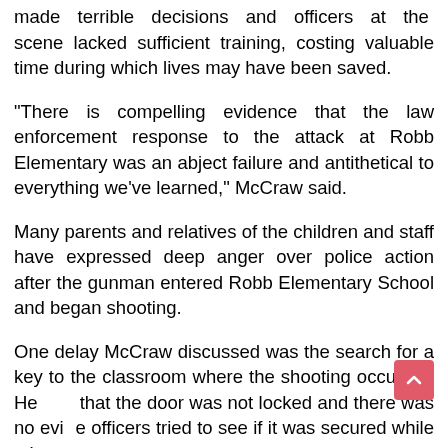made terrible decisions and officers at the scene lacked sufficient training, costing valuable time during which lives may have been saved.
"There is compelling evidence that the law enforcement response to the attack at Robb Elementary was an abject failure and antithetical to everything we've learned," McCraw said.
Many parents and relatives of the children and staff have expressed deep anger over police action after the gunman entered Robb Elementary School and began shooting.
One delay McCraw discussed was the search for a key to the classroom where the shooting occurred. He said that the door was not locked and there was no evidence officers tried to see if it was secured while others